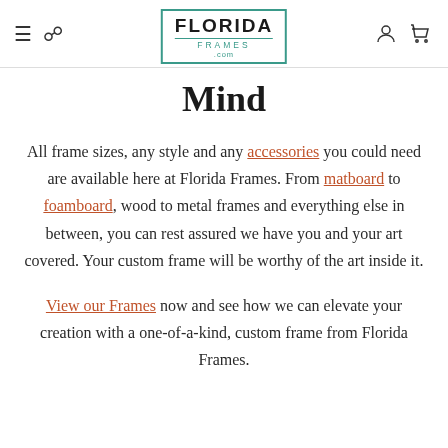Florida Frames .com
Mind
All frame sizes, any style and any accessories you could need are available here at Florida Frames. From matboard to foamboard, wood to metal frames and everything else in between, you can rest assured we have you and your art covered. Your custom frame will be worthy of the art inside it.
View our Frames now and see how we can elevate your creation with a one-of-a-kind, custom frame from Florida Frames.